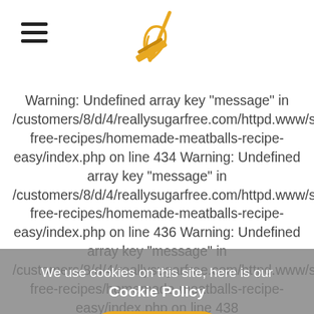[Figure (logo): Cooking whisk logo in orange/yellow color]
Warning: Undefined array key "message" in /customers/8/d/4/reallysugarfree.com/httpd.www/sugar-free-recipes/homemade-meatballs-recipe-easy/index.php on line 434 Warning: Undefined array key "message" in /customers/8/d/4/reallysugarfree.com/httpd.www/sugar-free-recipes/homemade-meatballs-recipe-easy/index.php on line 436 Warning: Undefined array key "message" in /customers/8/d/4/reallysugarfree.com/httpd.www/sugar-free-recipes/homemade-meatballs-recipe-easy/index.php on line 438 Be the first to comment...
We use cookies on this site, here is our Cookie Policy
Got it